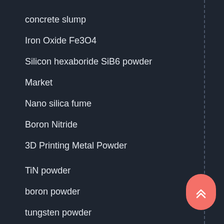concrete slump
Iron Oxide Fe3O4
Silicon hexaboride SiB6 powder
Market
Nano silica fume
Boron Nitride
3D Printing Metal Powder
TiN powder
boron powder
tungsten powder
Cuprous Oxide Cu2O Powder
concrete defoamer